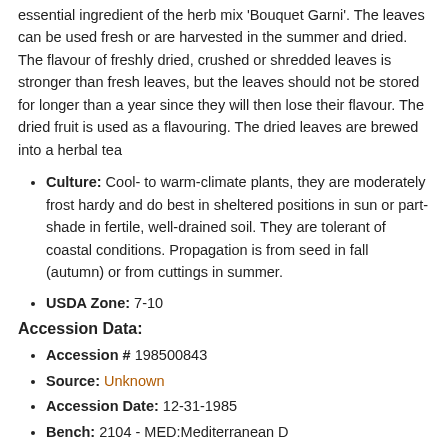essential ingredient of the herb mix 'Bouquet Garni'. The leaves can be used fresh or are harvested in the summer and dried. The flavour of freshly dried, crushed or shredded leaves is stronger than fresh leaves, but the leaves should not be stored for longer than a year since they will then lose their flavour. The dried fruit is used as a flavouring. The dried leaves are brewed into a herbal tea
Culture: Cool- to warm-climate plants, they are moderately frost hardy and do best in sheltered positions in sun or part-shade in fertile, well-drained soil. They are tolerant of coastal conditions. Propagation is from seed in fall (autumn) or from cuttings in summer.
USDA Zone: 7-10
Accession Data:
Accession # 198500843
Source: Unknown
Accession Date: 12-31-1985
Bench: 2104 - MED:Mediterranean D
Currently: active - healthy
Qty: 2 confirmed on 02-22-2022
Classification:
Division: Magnoliophyta